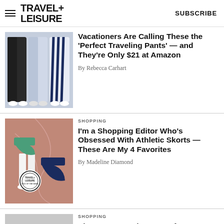TRAVEL+ LEISURE | SUBSCRIBE
[Figure (photo): Three pairs of wide-leg pants in dark, gray, and navy stripe on light background]
Vacationers Are Calling These the 'Perfect Traveling Pants' — and They're Only $21 at Amazon
By Rebecca Carhart
SHOPPING
[Figure (photo): Athletic skorts in green and navy on pink background with Travel+Leisure badge]
I'm a Shopping Editor Who's Obsessed With Athletic Skorts — These Are My 4 Favorites
By Madeline Diamond
SHOPPING
[Figure (photo): Light gray image placeholder partially visible at bottom of page]
Shoppers Say These Comfy...